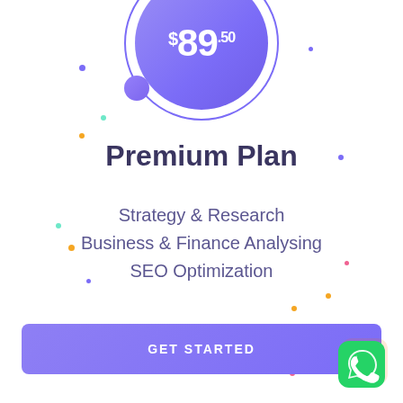[Figure (illustration): Purple gradient circle with price $89.50 and a smaller purple circle accent, with colored decorative dots scattered around]
Premium Plan
Strategy & Research
Business & Finance Analysing
SEO Optimization
GET STARTED
[Figure (logo): WhatsApp icon — green rounded square with white phone/speech bubble logo]